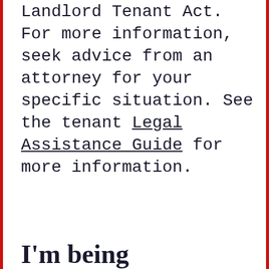Landlord Tenant Act. For more information, seek advice from an attorney for your specific situation. See the tenant Legal Assistance Guide for more information.
I'm being